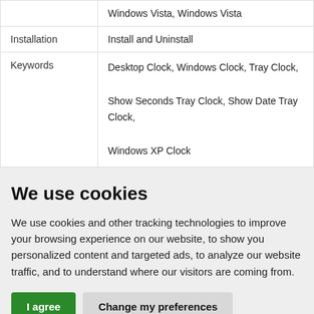|  |  |
| --- | --- |
|  | Windows Vista, Windows Vista |
| Installation | Install and Uninstall |
| Keywords | Desktop Clock, Windows Clock, Tray Clock, Show Seconds Tray Clock, Show Date Tray Clock, Windows XP Clock |
We use cookies
We use cookies and other tracking technologies to improve your browsing experience on our website, to show you personalized content and targeted ads, to analyze our website traffic, and to understand where our visitors are coming from.
I agree | Change my preferences